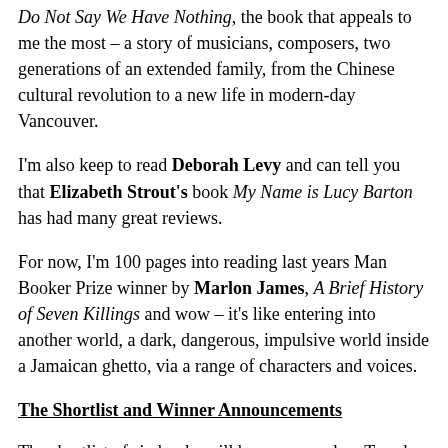Do Not Say We Have Nothing, the book that appeals to me the most – a story of musicians, composers, two generations of an extended family, from the Chinese cultural revolution to a new life in modern-day Vancouver.
I'm also keep to read Deborah Levy and can tell you that Elizabeth Strout's book My Name is Lucy Barton has had many great reviews.
For now, I'm 100 pages into reading last years Man Booker Prize winner by Marlon James, A Brief History of Seven Killings and wow – it's like entering into another world, a dark, dangerous, impulsive world inside a Jamaican ghetto, via a range of characters and voices.
The Shortlist and Winner Announcements
The shortlist of six books will be announced on Tuesday